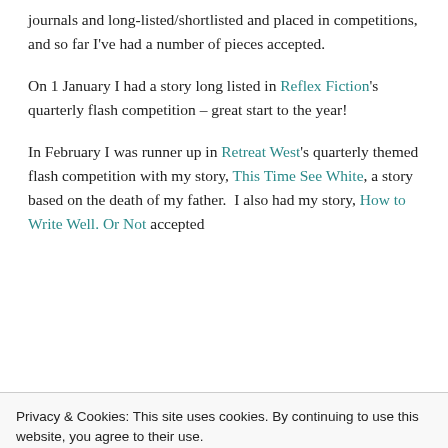journals and long-listed/shortlisted and placed in competitions, and so far I've had a number of pieces accepted.
On 1 January I had a story long listed in Reflex Fiction's quarterly flash competition – great start to the year!
In February I was runner up in Retreat West's quarterly themed flash competition with my story, This Time See White, a story based on the death of my father.  I also had my story, How to Write Well. Or Not accepted
Privacy & Cookies: This site uses cookies. By continuing to use this website, you agree to their use.
To find out more, including how to control cookies, see here: Cookie Policy
Close and accept